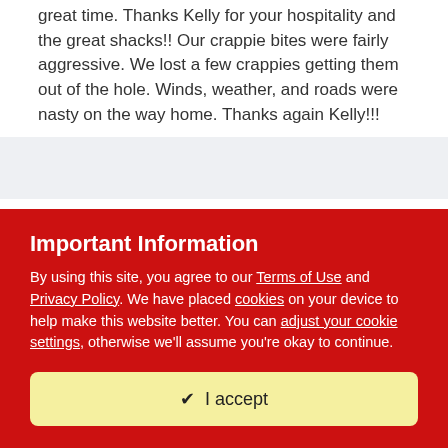great time. Thanks Kelly for your hospitality and the great shacks!! Our crappie bites were fairly aggressive. We lost a few crappies getting them out of the hole. Winds, weather, and roads were nasty on the way home. Thanks again Kelly!!!
Bigbartguy
Posted January 25, 2006
Steve
I was in one of Kelly's from 2pm Sun until 9am Mon. We were
Important Information
By using this site, you agree to our Terms of Use and Privacy Policy. We have placed cookies on your device to help make this website better. You can adjust your cookie settings, otherwise we'll assume you're okay to continue.
✔  I accept